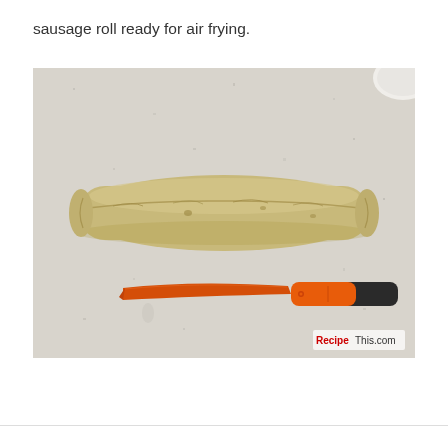sausage roll ready for air frying.
[Figure (photo): A photo showing a raw sausage roll wrapped in dough/pastry on a light granite countertop, with an orange and black kitchen knife placed below it. A watermark reading 'RecipeThis.com' appears at the bottom right of the image.]